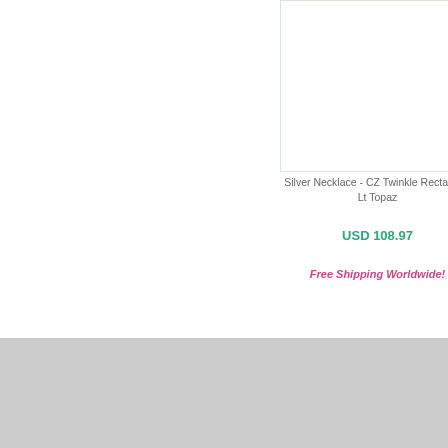[Figure (photo): Product image area for Silver Necklace - CZ Twinkle Rectangle, Lt Topaz (partially visible, clipped at top)]
Silver Necklace - CZ Twinkle Rectangle, Lt Topaz
USD 108.97
Free Shipping Worldwide!
[Figure (other): Share button with red plus icon and SHARE text]
About SILVER'N GRACE | Brilliant Commitment | Store Location | Corporate Solution | Product Care Advice | Ring Size | Recruitment | Shipping | Returns Shopping | Terms & Conditions | FAQ | Contact | Privacy | Sitemap